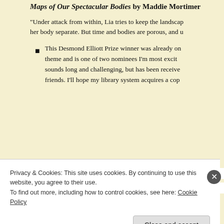Maps of Our Spectacular Bodies by Maddie Mortimer
“Under attack from within, Lia tries to keep the landscape of her body separate. But time and bodies are porous, and u
This Desmond Elliott Prize winner was already on my theme and is one of two nominees I’m most excit sounds long and challenging, but has been receive friends. I’ll hope my library system acquires a cop
Nightcrawling by Leila Mottley
Privacy & Cookies: This site uses cookies. By continuing to use this website, you agree to their use.
To find out more, including how to control cookies, see here: Cookie Policy